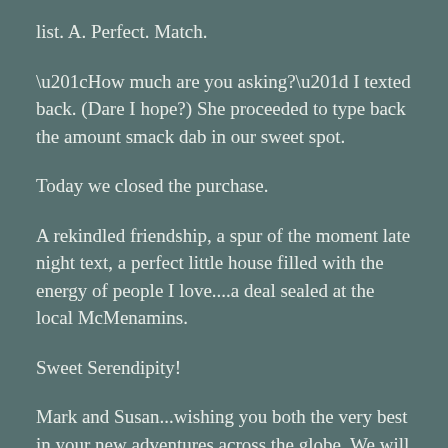list. A. Perfect. Match.
“How much are you asking?” I texted back. (Dare I hope?) She proceeded to type back the amount smack dab in our sweet spot.
Today we closed the purchase.
A rekindled friendship, a spur of the moment late night text, a perfect little house filled with the energy of people I love....a deal sealed at the local McMenamins.
Sweet Serendipity!
Mark and Susan...wishing you both the very best in your new adventures across the globe. We will leave the light